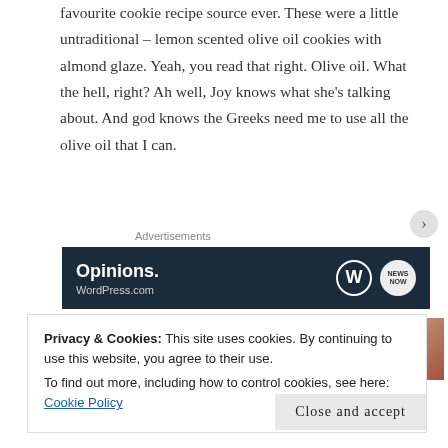favourite cookie recipe source ever. These were a little untraditional – lemon scented olive oil cookies with almond glaze. Yeah, you read that right. Olive oil. What the hell, right? Ah well, Joy knows what she's talking about. And god knows the Greeks need me to use all the olive oil that I can.
Advertisements
[Figure (screenshot): Dark navy advertisement banner showing 'Opinions.' text in white with WordPress W logo and circular news logo on right]
[Figure (photo): Two side-by-side partial photos – left shows pink and brown blurred image, right shows darker blurred image]
Privacy & Cookies: This site uses cookies. By continuing to use this website, you agree to their use.
To find out more, including how to control cookies, see here: Cookie Policy
Close and accept